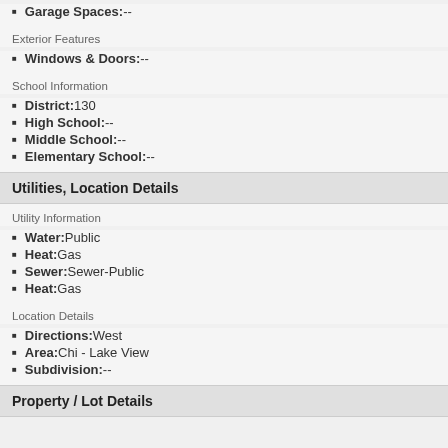Garage Spaces: --
Exterior Features
Windows & Doors: --
School Information
District: 130
High School: --
Middle School: --
Elementary School: --
Utilities, Location Details
Utility Information
Water: Public
Heat: Gas
Sewer: Sewer-Public
Heat: Gas
Location Details
Directions: West
Area: Chi - Lake View
Subdivision: --
Property / Lot Details